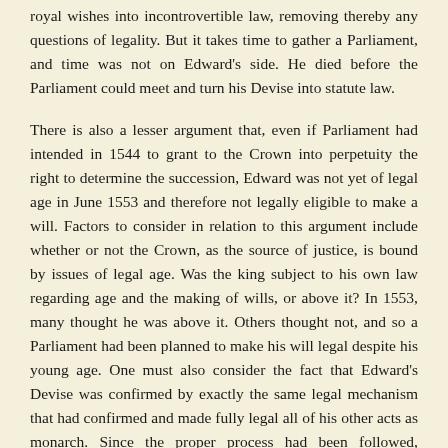royal wishes into incontrovertible law, removing thereby any questions of legality. But it takes time to gather a Parliament, and time was not on Edward's side. He died before the Parliament could meet and turn his Devise into statute law.
There is also a lesser argument that, even if Parliament had intended in 1544 to grant to the Crown into perpetuity the right to determine the succession, Edward was not yet of legal age in June 1553 and therefore not legally eligible to make a will. Factors to consider in relation to this argument include whether or not the Crown, as the source of justice, is bound by issues of legal age. Was the king subject to his own law regarding age and the making of wills, or above it? In 1553, many thought he was above it. Others thought not, and so a Parliament had been planned to make his will legal despite his young age. One must also consider the fact that Edward's Devise was confirmed by exactly the same legal mechanism that had confirmed and made fully legal all of his other acts as monarch. Since the proper process had been followed, perhaps his Devise was already fully legally valid. There is also the issue of whether